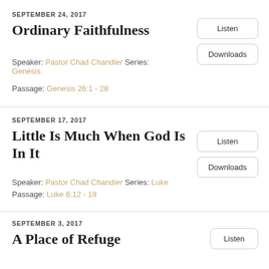SEPTEMBER 24, 2017
Ordinary Faithfulness
Speaker: Pastor Chad Chandler Series: Genesis
Passage: Genesis 26:1 - 28
SEPTEMBER 17, 2017
Little Is Much When God Is In It
Speaker: Pastor Chad Chandler Series: Luke
Passage: Luke 6:12 - 19
SEPTEMBER 3, 2017
A Place of Refuge